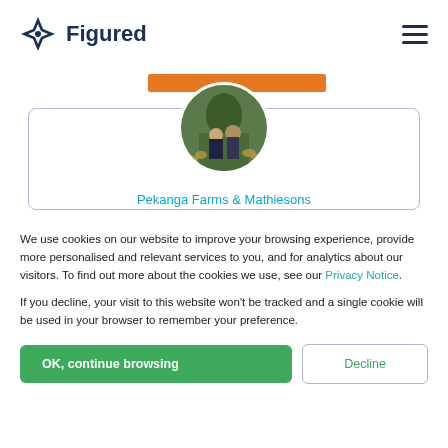[Figure (logo): Figured logo with star/compass icon and bold navy text 'Figured']
[Figure (illustration): Orange horizontal bar, decorative element]
[Figure (photo): Circular profile photo of two people standing in a farm field with sheep]
Pekanga Farms & Mathiesons
We use cookies on our website to improve your browsing experience, provide more personalised and relevant services to you, and for analytics about our visitors. To find out more about the cookies we use, see our Privacy Notice.
If you decline, your visit to this website won't be tracked and a single cookie will be used in your browser to remember your preference.
OK, continue browsing
Decline